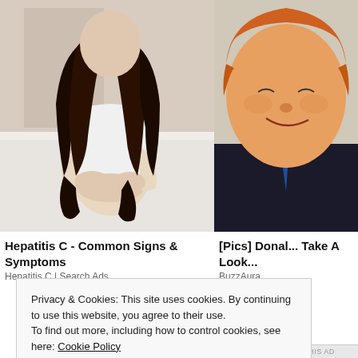[Figure (photo): Woman in white top sitting on bed showing back pain, viewed from behind with long dark hair]
Hepatitis C - Common Signs & Symptoms
Hepatitis C | Search Ads
[Figure (photo): Partially visible photo of a man with orange/reddish hair and blue tie, smiling]
[Pics] Donal... Take A Look...
BuzzAura
Privacy & Cookies: This site uses cookies. By continuing to use this website, you agree to their use.
To find out more, including how to control cookies, see here: Cookie Policy
Close and accept